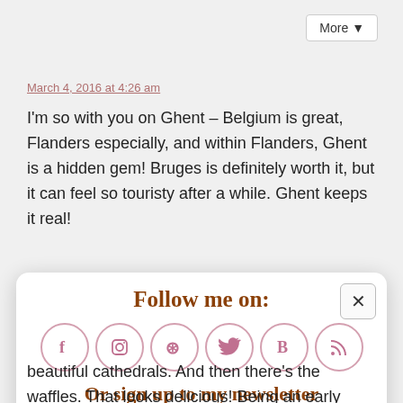March 4, 2016 at 4:26 am
I'm so with you on Ghent – Belgium is great, Flanders especially, and within Flanders, Ghent is a hidden gem! Bruges is definitely worth it, but it can feel so touristy after a while. Ghent keeps it real!
Reply
Follow me on:
[Figure (infographic): Six social media icons in circles: Facebook (f), Instagram, Pinterest, Twitter bird, Bloglovin (B), RSS feed]
Or sign up to my newsletter
Subscribe  Sign Up!
beautiful cathedrals. And then there's the waffles. That looks delicious! Being an early industrial city, I